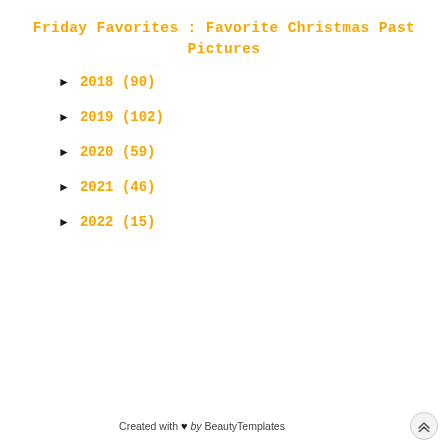Friday Favorites : Favorite Christmas Past Pictures
► 2018 (90)
► 2019 (102)
► 2020 (59)
► 2021 (46)
► 2022 (15)
Created with ♥ by BeautyTemplates